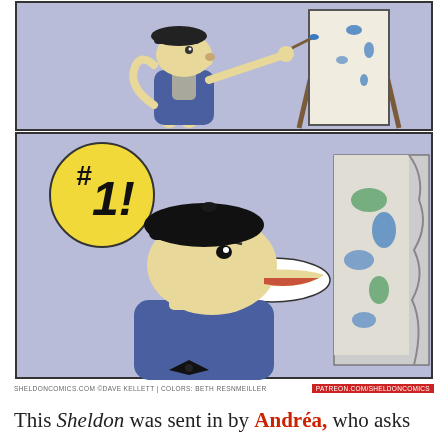[Figure (illustration): Two-panel Sheldon comic strip. Top panel shows a cartoon dog character dressed as an artist with a beret and blue coat, painting at an easel. Bottom panel shows a close-up of the dog character wearing a black beret and blue coat with a bow tie, saying 'don't do it' in a speech bubble, while a yellow circle with '#1!' appears in the upper left. The artwork is by Dave Kellett with colors by Beth Resnmeiller.]
SHELDONCOMICS.COM ©DAVE KELLETT | COLORS: BETH RESNMEILLER   PATREON.COM/SHELDONCOMICS
This Sheldon was sent in by Andréa, who asks